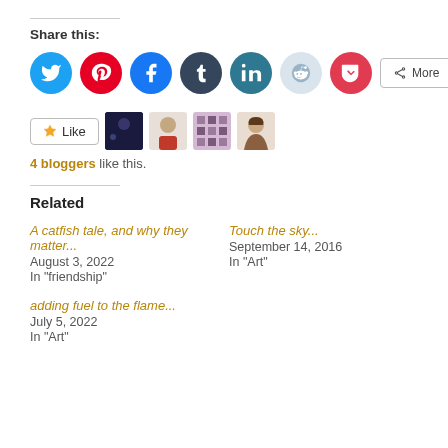Share this:
[Figure (infographic): Row of social share icon buttons: Twitter (blue), Pinterest (red), Facebook (blue), Tumblr (dark navy), LinkedIn (teal), Reddit (light blue/grey), Pocket (red), and a More button]
[Figure (infographic): Like button with star icon, followed by 4 blogger avatar thumbnails]
4 bloggers like this.
Related
A catfish tale, and why they matter...
August 3, 2022
In "friendship"
Touch the sky...
September 14, 2016
In "Art"
adding fuel to the flame...
July 5, 2022
In "Art"